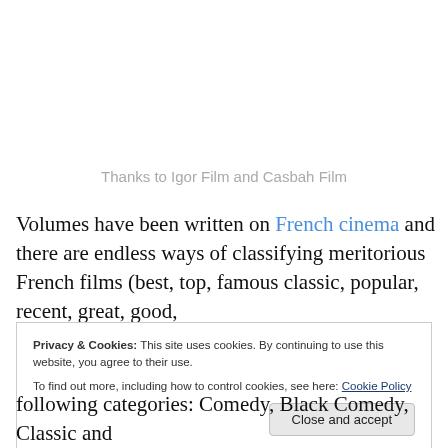Thanks to Igor Film and Casbah Film
Volumes have been written on French cinema and there are endless ways of classifying meritorious French films (best, top, famous classic, popular, recent, great, good,
Privacy & Cookies: This site uses cookies. By continuing to use this website, you agree to their use.
To find out more, including how to control cookies, see here: Cookie Policy
Close and accept
following categories: Comedy, Black Comedy, Classic and